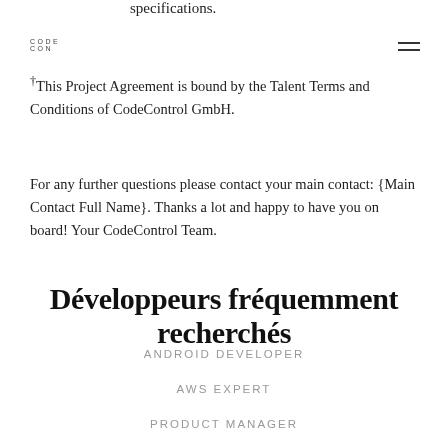CODE CON
specifications.
† This Project Agreement is bound by the Talent Terms and Conditions of CodeControl GmbH.
For any further questions please contact your main contact: {Main Contact Full Name}. Thanks a lot and happy to have you on board! Your CodeControl Team.
Développeurs fréquemment recherchés
ANDROID DEVELOPER
AWS EXPERT
PRODUCT MANAGER